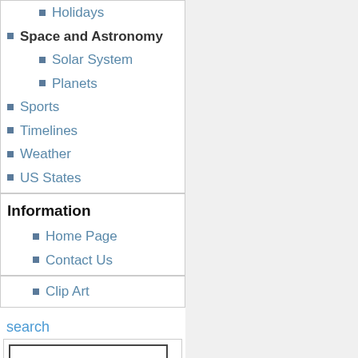Holidays
Space and Astronomy
Solar System
Planets
Sports
Timelines
Weather
US States
Information
Home Page
Contact Us
Clip Art
search